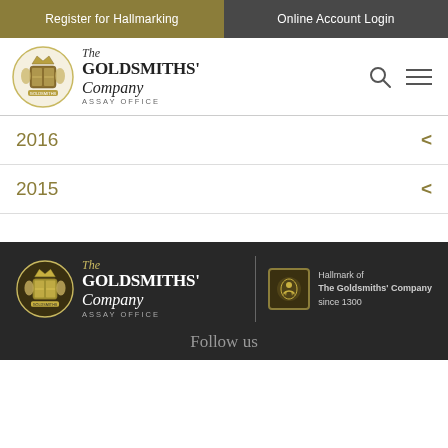Register for Hallmarking | Online Account Login
[Figure (logo): The Goldsmiths' Company Assay Office crest and brand name logo in header]
2016
2015
[Figure (logo): The Goldsmiths' Company Assay Office footer logo with crest, brand name, and Hallmark of The Goldsmiths' Company since 1300 badge]
Follow us